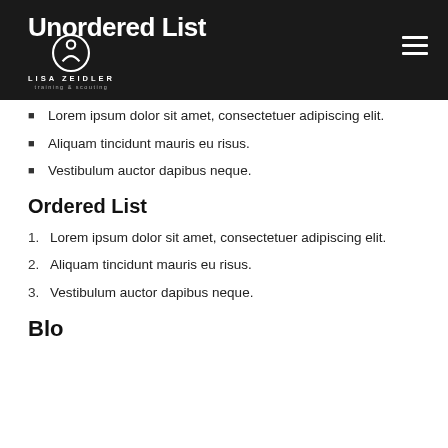Unordered List
Lorem ipsum dolor sit amet, consectetuer adipiscing elit.
Aliquam tincidunt mauris eu risus.
Vestibulum auctor dapibus neque.
Ordered List
Lorem ipsum dolor sit amet, consectetuer adipiscing elit.
Aliquam tincidunt mauris eu risus.
Vestibulum auctor dapibus neque.
Blo…